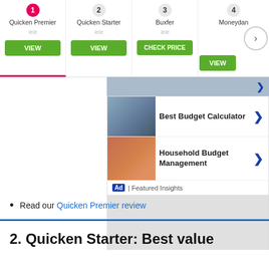[Figure (screenshot): Comparison bar showing 4 products: 1. Quicken Premier (pink/active), 2. Quicken Starter, 3. Buxfer, 4. Moneydance (partially visible). Each has a number badge, product name, wavy icon, and a green action button (VIEW or CHECK PRICE). A next arrow button is visible on the right.]
[Figure (screenshot): Advertisement panel showing two rows: 'Best Budget Calculator' with a calculator image and blue arrow, and 'Household Budget Management' with a woman shopping image and blue arrow. Footer shows Ad badge and 'Featured Insights'. Below is a gray area.]
Read our Quicken Premier review
2. Quicken Starter: Best value